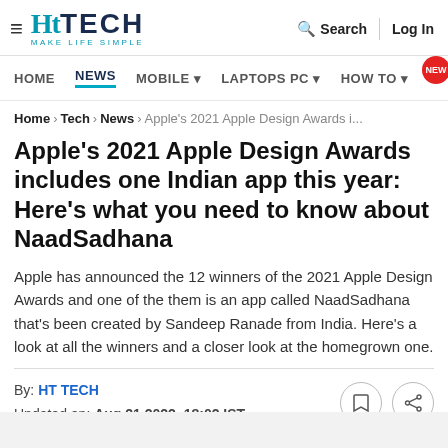HT TECH — MAKE LIFE SIMPLE | Search | Log In
HOME | NEWS | MOBILE | LAPTOPS PC | HOW TO NEW
Home > Tech > News > Apple's 2021 Apple Design Awards i...
Apple's 2021 Apple Design Awards includes one Indian app this year: Here's what you need to know about NaadSadhana
Apple has announced the 12 winners of the 2021 Apple Design Awards and one of the them is an app called NaadSadhana that's been created by Sandeep Ranade from India. Here's a look at all the winners and a closer look at the homegrown one.
By: HT TECH
Updated on: Aug 21 2022, 18:02 IST